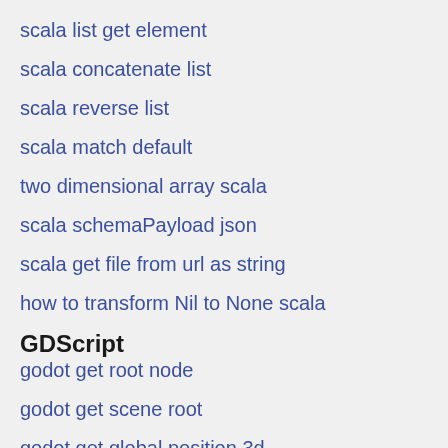scala list get element
scala concatenate list
scala reverse list
scala match default
two dimensional array scala
scala schemaPayload json
scala get file from url as string
how to transform Nil to None scala
GDScript
godot get root node
godot get scene root
godot get global position 3d
godot get global position 3